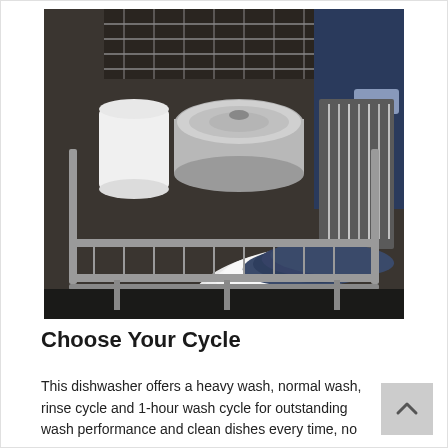[Figure (photo): A loaded dishwasher with the door open showing the lower rack filled with white and navy/dark blue plates, a white mug, stainless steel pots and pans, and cutlery in the basket. A navy blue kitchen cabinet is visible in the background.]
Choose Your Cycle
This dishwasher offers a heavy wash, normal wash, rinse cycle and 1-hour wash cycle for outstanding wash performance and clean dishes every time, no